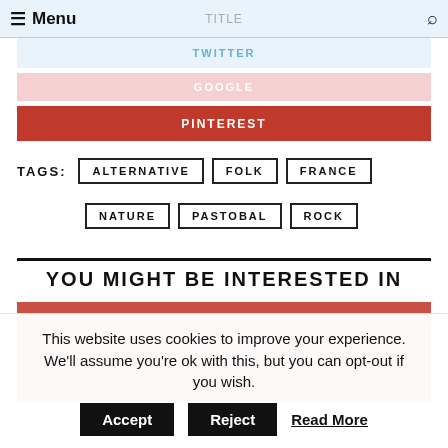Menu
TWITTER
GOOGLE
PINTEREST
TAGS: ALTERNATIVE FOLK FRANCE NATURE PASTOBAL ROCK
YOU MIGHT BE INTERESTED IN
[Figure (photo): Red image placeholder block]
This website uses cookies to improve your experience. We'll assume you're ok with this, but you can opt-out if you wish. Accept Reject Read More